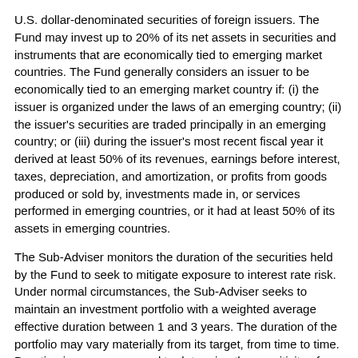U.S. dollar-denominated securities of foreign issuers. The Fund may invest up to 20% of its net assets in securities and instruments that are economically tied to emerging market countries. The Fund generally considers an issuer to be economically tied to an emerging market country if: (i) the issuer is organized under the laws of an emerging country; (ii) the issuer's securities are traded principally in an emerging country; or (iii) during the issuer's most recent fiscal year it derived at least 50% of its revenues, earnings before interest, taxes, depreciation, and amortization, or profits from goods produced or sold by, investments made in, or services performed in emerging countries, or it had at least 50% of its assets in emerging countries.
The Sub-Adviser monitors the duration of the securities held by the Fund to seek to mitigate exposure to interest rate risk. Under normal circumstances, the Sub-Adviser seeks to maintain an investment portfolio with a weighted average effective duration between 1 and 3 years. The duration of the portfolio may vary materially from its target, from time to time. Duration is a measure used to determine the sensitivity of a security's price to changes in interest rates. The longer a security's duration, the more sensitive it will be to changes in interest rates.
The Sub-Adviser actively manages the Fund's asset class exposure using a top-down approach based on analysis of sector fundamentals and rotates Fund assets among sectors in various markets to attempt to maximize return. Individual securities within asset classes are selected using a bottom-up approach. Under normal circumstances, the Sub-Adviser uses a controlled risk approach in managing the Fund's